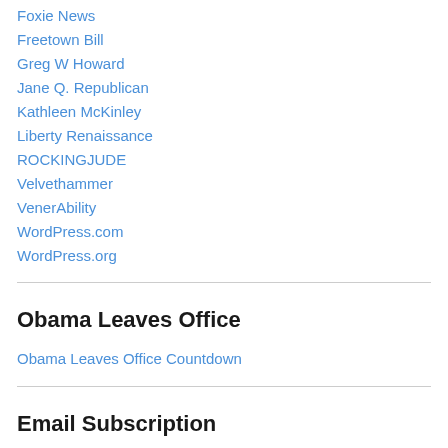CorkandrOrk
Foxie News
Freetown Bill
Greg W Howard
Jane Q. Republican
Kathleen McKinley
Liberty Renaissance
ROCKINGJUDE
Velvethammer
VenerAbility
WordPress.com
WordPress.org
Obama Leaves Office
Obama Leaves Office Countdown
Email Subscription